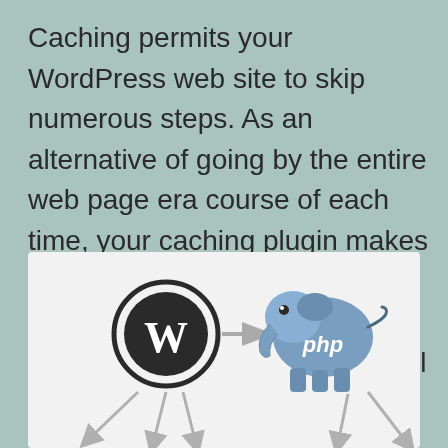Caching permits your WordPress web site to skip numerous steps. As an alternative of going by the entire web page era course of each time, your caching plugin makes a duplicate of the web page after the primary load, after which serves that cached model to each subsequent consumer.
[Figure (schematic): Diagram showing WordPress logo with a W symbol in a circle, an arrow pointing right to a PHP elephant logo, with grey arrows below pointing outward in multiple directions.]